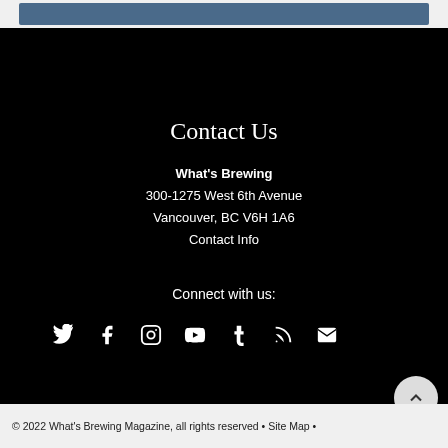[Figure (other): Blue banner/header bar at top of page]
Contact Us
What's Brewing
300-1275 West 6th Avenue
Vancouver, BC V6H 1A6
Contact Info
Connect with us:
[Figure (other): Social media icons row: Twitter, Facebook, Instagram, YouTube, Tumblr, RSS, Email]
© 2022 What's Brewing Magazine, all rights reserved • Site Map •